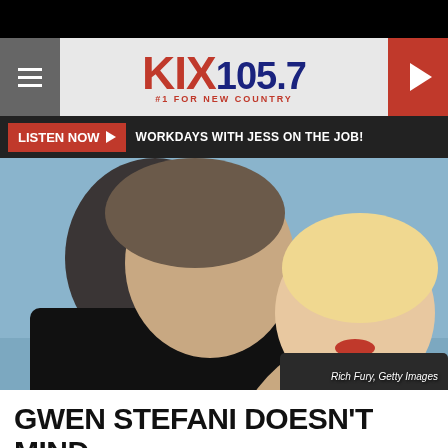[Figure (screenshot): KIX 105.7 radio station website screenshot showing logo banner, listen now bar, photo of Blake Shelton and Gwen Stefani, and article title]
KIX 105.7 #1 FOR NEW COUNTRY
LISTEN NOW ▶  WORKDAYS WITH JESS ON THE JOB!
[Figure (photo): Blake Shelton and Gwen Stefani smiling together. Photo credit: Rich Fury, Getty Images]
Rich Fury, Getty Images
GWEN STEFANI DOESN'T MIND